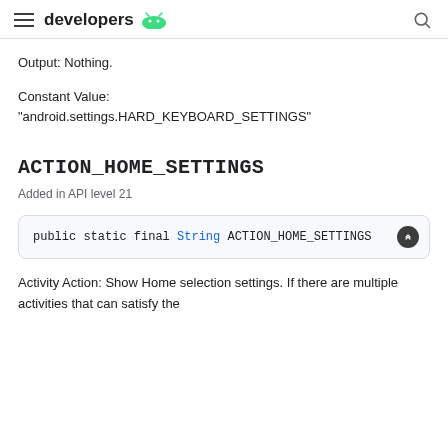developers
Output: Nothing.
Constant Value:
"android.settings.HARD_KEYBOARD_SETTINGS"
ACTION_HOME_SETTINGS
Added in API level 21
public static final String ACTION_HOME_SETTINGS
Activity Action: Show Home selection settings. If there are multiple activities that can satisfy the